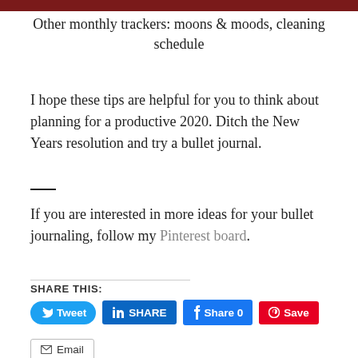[Figure (photo): Dark red/maroon colored image bar at top of page]
Other monthly trackers: moons & moods, cleaning schedule
I hope these tips are helpful for you to think about planning for a productive 2020. Ditch the New Years resolution and try a bullet journal.
If you are interested in more ideas for your bullet journaling, follow my Pinterest board.
SHARE THIS:
Tweet  SHARE  Share 0  Save  Email